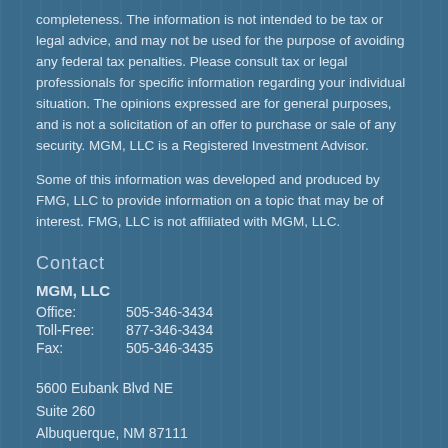completeness. The information is not intended to be tax or legal advice, and may not be used for the purpose of avoiding any federal tax penalties. Please consult tax or legal professionals for specific information regarding your individual situation. The opinions expressed are for general purposes, and is not a solicitation of an offer to purchase or sale of any security. MGM, LLC is a Registered Investment Advisor.
Some of this information was developed and produced by FMG, LLC to provide information on a topic that may be of interest. FMG, LLC is not affiliated with MGM, LLC.
Contact
MGM, LLC
Office: 505-346-3434
Toll-Free: 877-346-3434
Fax: 505-346-3435
5600 Eubank Blvd NE
Suite 260
Albuquerque, NM 87111